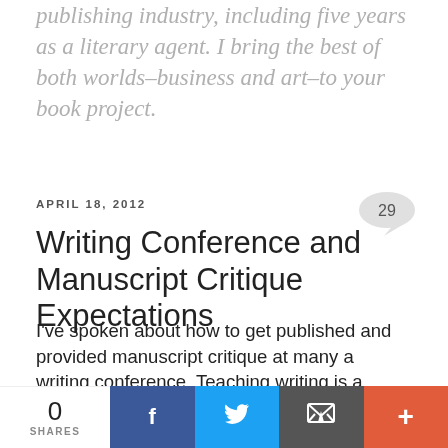publishing industry, including five years as a literary agent. I bring the best of both worlds–business and art–to your book project.
APRIL 18, 2012
Writing Conference and Manuscript Critique Expectations
I've spoken about how to get published and provided manuscript critique at many a writing conference. Teaching writing is a passion for me (hence the blog). Most of the writers who get manuscript critique (at conferences, in critique groups, through the webinars, as a result of
0 SHARES